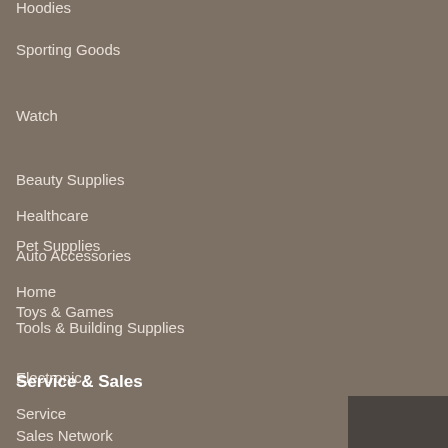Hoodies
Sporting Goods
Watch
Beauty Supplies
Pet Supplies
Toys & Games
Electronic
Healthcare
Auto Accessories
Home
Tools & Building Supplies
Service & Sales
Service
Sales Network
News